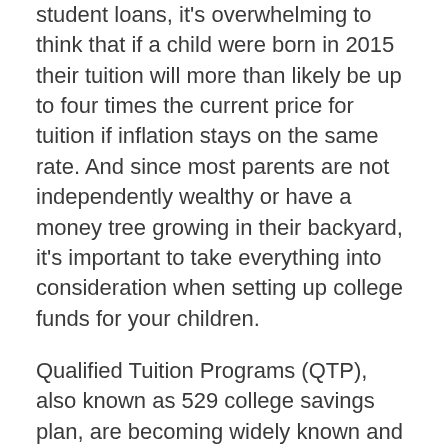student loans, it's overwhelming to think that if a child were born in 2015 their tuition will more than likely be up to four times the current price for tuition if inflation stays on the same rate. And since most parents are not independently wealthy or have a money tree growing in their backyard, it's important to take everything into consideration when setting up college funds for your children.
Qualified Tuition Programs (QTP), also known as 529 college savings plan, are becoming widely known and are offered in 30 states. Here's how they work – A parent would invest after-tax money into the plan, and you're then allowed to withdraw the funds tax-free for use towards qualified education expenses, such as tuition and textbooks. Each state's plan offers several investment options, annual fees, and operating costs. There are limits that are lobbied by each state.